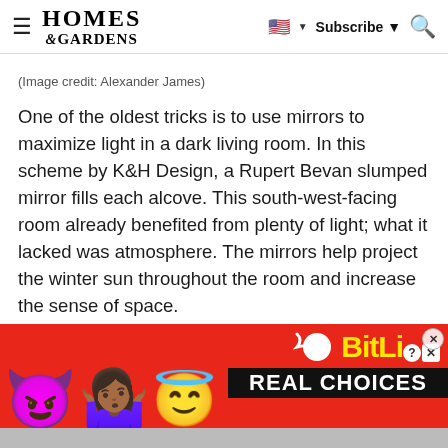HOMES & GARDENS — hamburger menu, flag/language selector, Subscribe, Search
(Image credit: Alexander James)
One of the oldest tricks is to use mirrors to maximize light in a dark living room. In this scheme by K&H Design, a Rupert Bevan slumped mirror fills each alcove. This south-west-facing room already benefited from plenty of light; what it lacked was atmosphere. The mirrors help project the winter sun throughout the room and increase the sense of space.
[Figure (screenshot): BitLife advertisement banner with red background, devil emoji, woman with raised arms emoji, angel emoji, sperm+circle icon, BitLife logo in yellow, and 'REAL CHOICES' text in black bar]